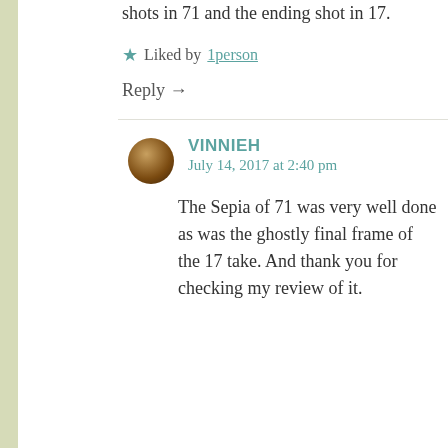shots in 71 and the ending shot in 17.
★ Liked by 1person
Reply →
VINNIEH
July 14, 2017 at 2:40 pm
The Sepia of 71 was very well done as was the ghostly final frame of the 17 take. And thank you for checking my review of it.